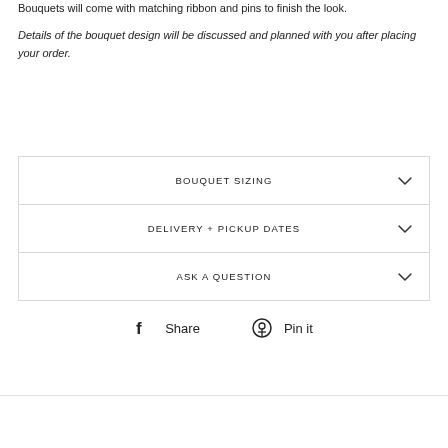Bouquets will come with matching ribbon and pins to finish the look.
Details of the bouquet design will be discussed and planned with you after placing your order.
BOUQUET SIZING
DELIVERY + PICKUP DATES
ASK A QUESTION
Share  Pin it